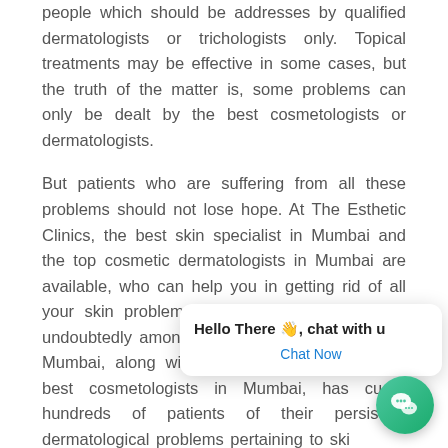people which should be addresses by qualified dermatologists or trichologists only. Topical treatments may be effective in some cases, but the truth of the matter is, some problems can only be dealt by the best cosmetologists or dermatologists.
But patients who are suffering from all these problems should not lose hope. At The Esthetic Clinics, the best skin specialist in Mumbai and the top cosmetic dermatologists in Mumbai are available, who can help you in getting rid of all your skin problems. Dr. Rinky Kapoor who is undoubtedly amongst the best dermatologists in Mumbai, along with her team of some of the best cosmetologists in Mumbai, has cured hundreds of patients of their persistent dermatological problems pertaining to skin, nails and hair. At The Esthetic Clinics...
[Figure (screenshot): Chat widget popup showing 'Hello There 👋, chat with us' and a 'Chat Now' button in blue text, with a WeChat green bubble icon in the bottom right corner.]